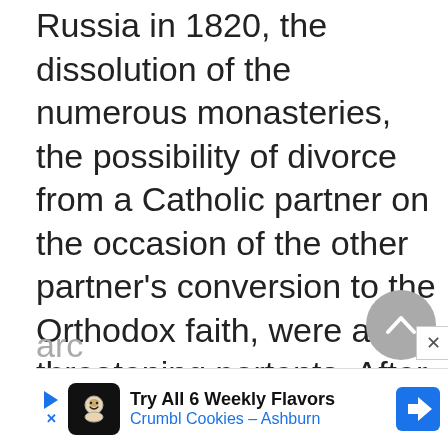The expulsion of the Jesuits from Russia in 1820, the dissolution of the numerous monasteries, the possibility of divorce from a Catholic partner on the occasion of the other partner's conversion to the Orthodox faith, were all threatening portents. After the failure of the Polish revolution of 1830–31, they were followed by harsh measures against the Church. The government refused to give official approval to episcopal candidates (the arc...
[Figure (other): Circular scroll-to-top button with upward chevron arrow, gray background]
[Figure (infographic): Advertisement banner: Try All 6 Weekly Flavors, Crumbl Cookies - Ashburn, with cookie icon and blue navigation arrow logo]